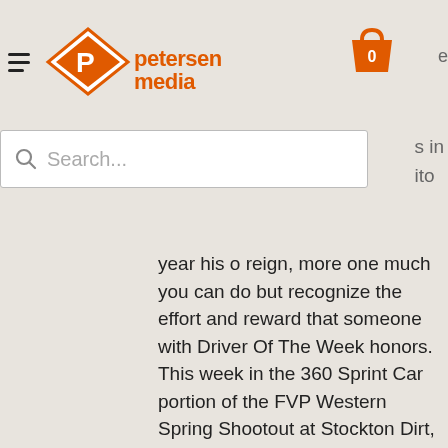petersenmedia — navigation header with logo, hamburger menu, and cart
[Figure (screenshot): Search bar with magnifying glass icon and placeholder text 'Search...']
year his o reign, more one much you can do but recognize the effort and reward that someone with Driver Of The Week honors. This week in the 360 Sprint Car portion of the FVP Western Spring Shootout at Stockton Dirt, Andy Forsberg not only won night one after falling from the front row to fourth and then making his way back to the point, but backed it up and took the bonus money for anyone who could win both nights by winning night two in flag to flag fashion while fighting off everyone's pre-weekend